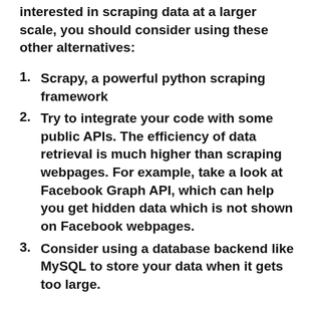interested in scraping data at a larger scale, you should consider using these other alternatives:
Scrapy, a powerful python scraping framework
Try to integrate your code with some public APIs. The efficiency of data retrieval is much higher than scraping webpages. For example, take a look at Facebook Graph API, which can help you get hidden data which is not shown on Facebook webpages.
Consider using a database backend like MySQL to store your data when it gets too large.